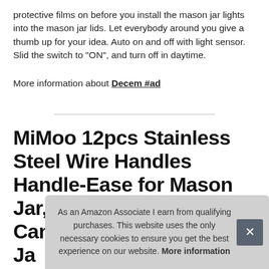protective films on before you install the mason jar lights into the mason jar lids. Let everybody around you give a thumb up for your idea. Auto on and off with light sensor. Slid the switch to "ON", and turn off in daytime.
More information about Decem #ad
MiMoo 12pcs Stainless Steel Wire Handles Handle-Ease for Mason Jar, Ball Pint Jar, Canning Jars, Mason Jar Handle Works for Drink...
As an Amazon Associate I earn from qualifying purchases. This website uses the only necessary cookies to ensure you get the best experience on our website. More information